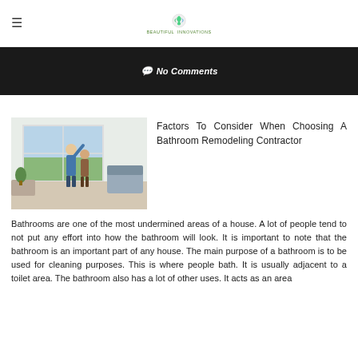≡  [Logo] BEAUTIFUL RENOVATIONS
💬 No Comments
[Figure (photo): Two people standing in a bright modern living room, one pointing upward, with large windows and green outdoor view.]
Factors To Consider When Choosing A Bathroom Remodeling Contractor
Bathrooms are one of the most undermined areas of a house. A lot of people tend to not put any effort into how the bathroom will look. It is important to note that the bathroom is an important part of any house. The main purpose of a bathroom is to be used for cleaning purposes. This is where people bath. It is usually adjacent to a toilet area. The bathroom also has a lot of other uses. It acts as an area